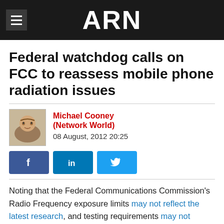ARN
Federal watchdog calls on FCC to reassess mobile phone radiation issues
Michael Cooney (Network World)
08 August, 2012 20:25
[Figure (other): Social share buttons: Facebook, LinkedIn, Twitter]
Noting that the Federal Communications Commission's Radio Frequency exposure limits may not reflect the latest research, and testing requirements may not identify maximum exposure in all possible usage conditions, the Government Accountability Office today said the agency